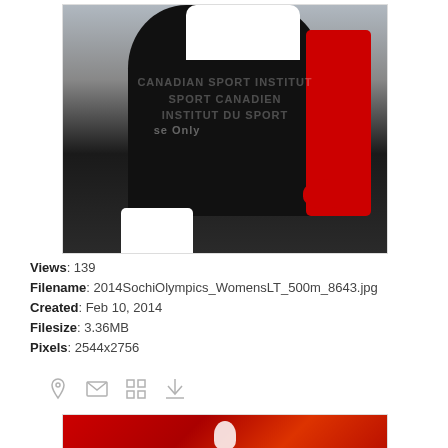[Figure (photo): Speed skater in black and red Canadian speedsuit in a crouched position, viewed from the front. Watermark overlay reads Canadian Sport Institute / Institut canadien du sport. 'Use Only' text visible.]
Views: 139
Filename: 2014SochiOlympics_WomensLT_500m_8643.jpg
Created: Feb 10, 2014
Filesize: 3.36MB
Pixels: 2544x2756
[Figure (photo): Partial view of second photo showing red background with white figure, partially cut off at bottom of page.]